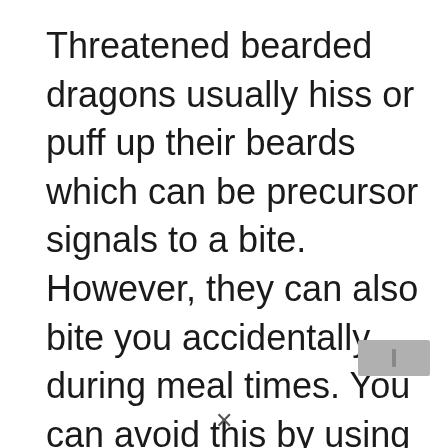Threatened bearded dragons usually hiss or puff up their beards which can be precursor signals to a bite. However, they can also bite you accidentally during meal times. You can avoid this by using tongs to feed them or slowly getting them accustomed to eating off your hand.